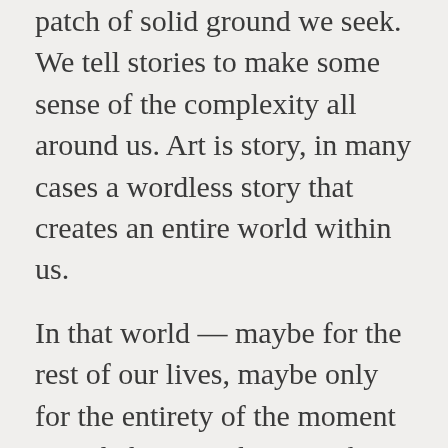these shifting sands, to give us the patch of solid ground we seek. We tell stories to make some sense of the complexity all around us. Art is story, in many cases a wordless story that creates an entire world within us.
In that world — maybe for the rest of our lives, maybe only for the entirety of the moment we inhabit it — things make sense.
There is cause and effect, some form of justice, perhaps even a neat resolution.